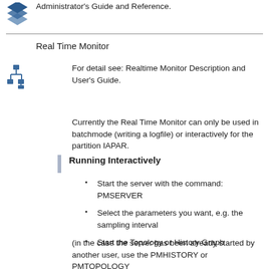Administrator's Guide and Reference.
[Figure (logo): Blue stacked layers logo icon]
Real Time Monitor
[Figure (illustration): Tree/hierarchy icon]
For detail see: Realtime Monitor Description and User's Guide.
Currently the Real Time Monitor can only be used in batchmode (writing a logfile) or interactively for the partition IAPAR.
Running Interactively
Start the server with the command: PMSERVER
Select the parameters you want, e.g. the sampling interval
Start the Topology or History Graph
(in the case the server has been already started by another user, use the PMHISTORY or PMTOPOLOGY